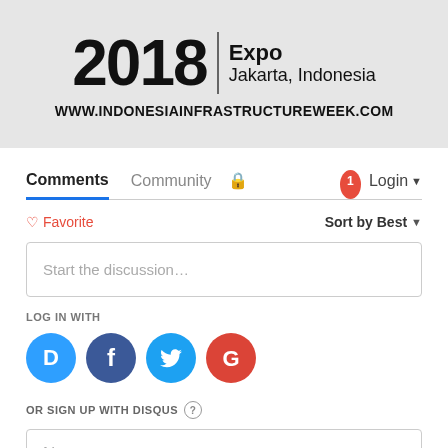[Figure (other): Indonesia Infrastructure Week 2018 Expo Jakarta Indonesia banner with website www.indonesiainfrastructureweek.com]
Comments   Community   🔒   1   Login ▾
♡ Favorite   Sort by Best ▾
Start the discussion…
LOG IN WITH
[Figure (other): Social login icons: Disqus (blue), Facebook (dark blue), Twitter (light blue), Google (red)]
OR SIGN UP WITH DISQUS ?
Name